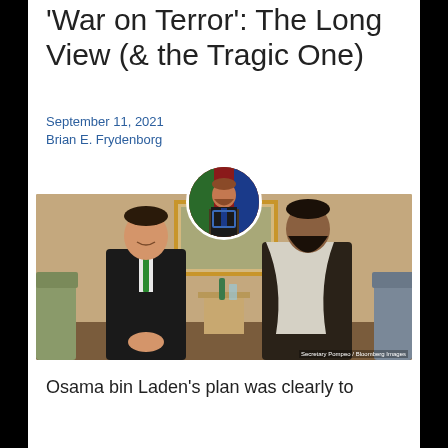'War on Terror': The Long View (& the Tragic One)
September 11, 2021
Brian E. Frydenborg
[Figure (photo): Circular avatar photo of author Brian E. Frydenborg speaking at a podium overlaid on a main photograph of two men standing side by side in a formal room — one in a dark suit with green tie, one in traditional Afghan clothing with white shawl. Photo credit: Secretary Pompeo / Bloomberg Images.]
Osama bin Laden's plan was clearly to